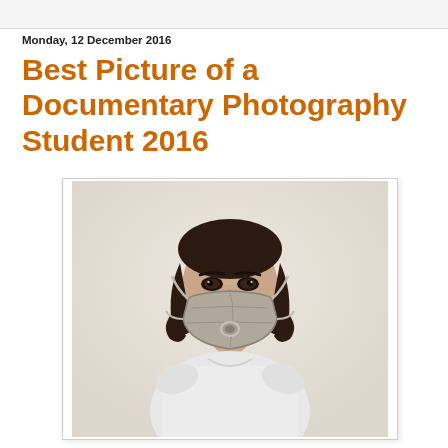Monday, 12 December 2016
Best Picture of a Documentary Photography Student 2016
[Figure (photo): Young woman with dark curly hair wearing a white t-shirt and a grey N95 respirator face mask, photographed against a light/white background in a portrait style.]